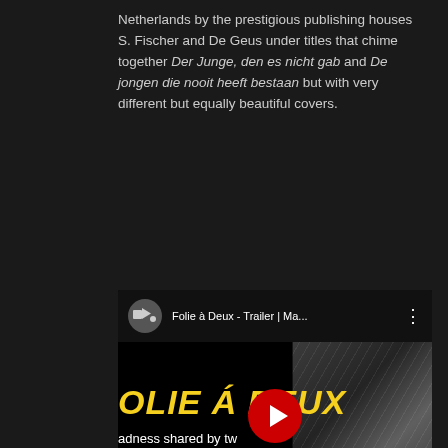Netherlands by the prestigious publishing houses S. Fischer and De Geus under titles that chime together Der Junge, den es nicht gab and De jongen die nooit heeft bestaan but with very different but equally beautiful covers.
[Figure (screenshot): YouTube video thumbnail/player for 'Folie à Deux - Trailer | Ma...' showing a black background with yellow bold italic text 'OLIE Á DEUX', subtitle 'adness shared by tw', a red YouTube play button in the center, and a grayscale image of a harpist on the right side.]